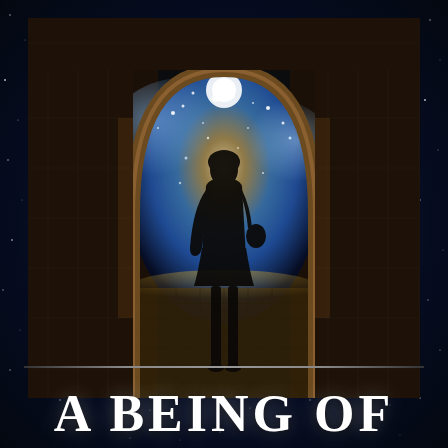[Figure (photo): A silhouette of a woman standing in a stone archway tunnel, with a breathtaking cosmic nebula and stars visible through the opening, illuminating the cobblestone floor with warm golden and blue light.]
A Being of